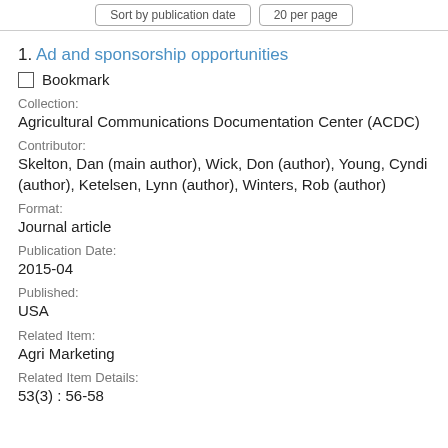Sort by publication date   20 per page
1. Ad and sponsorship opportunities
Bookmark
Collection:
Agricultural Communications Documentation Center (ACDC)
Contributor:
Skelton, Dan (main author), Wick, Don (author), Young, Cyndi (author), Ketelsen, Lynn (author), Winters, Rob (author)
Format:
Journal article
Publication Date:
2015-04
Published:
USA
Related Item:
Agri Marketing
Related Item Details:
53(3) : 56-58